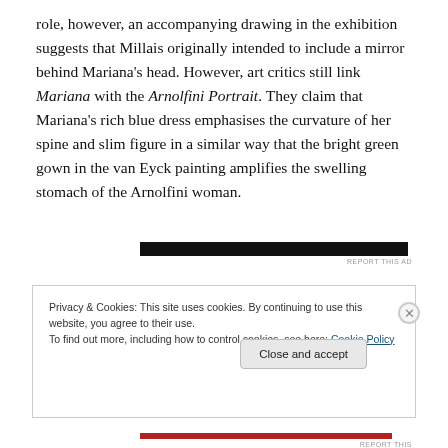role, however, an accompanying drawing in the exhibition suggests that Millais originally intended to include a mirror behind Mariana's head. However, art critics still link Mariana with the Arnolfini Portrait. They claim that Mariana's rich blue dress emphasises the curvature of her spine and slim figure in a similar way that the bright green gown in the van Eyck painting amplifies the swelling stomach of the Arnolfini woman.
[Figure (other): Dark advertisement banner bar]
Privacy & Cookies: This site uses cookies. By continuing to use this website, you agree to their use.
To find out more, including how to control cookies, see here: Cookie Policy